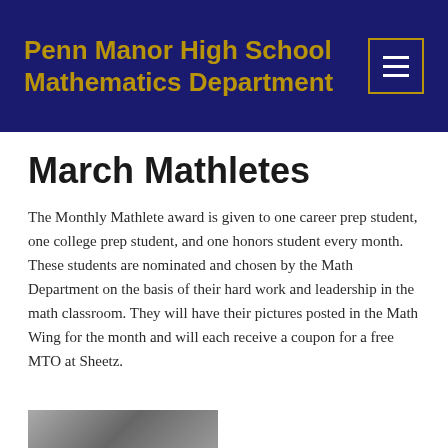Penn Manor High School Mathematics Department
March Mathletes
The Monthly Mathlete award is given to one career prep student, one college prep student, and one honors student every month. These students are nominated and chosen by the Math Department on the basis of their hard work and leadership in the math classroom. They will have their pictures posted in the Math Wing for the month and will each receive a coupon for a free MTO at Sheetz.
[Figure (photo): Partial view of a grayscale photograph at the bottom of the page]